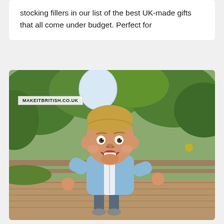stocking fillers in our list of the best UK-made gifts that all come under budget. Perfect for
[Figure (photo): A young toddler boy with blonde hair, smiling and running outdoors, wearing a light blue quilted bomber jacket and holding a white balloon string. Watermark reads MAKEITBRITISH.CO.UK.]